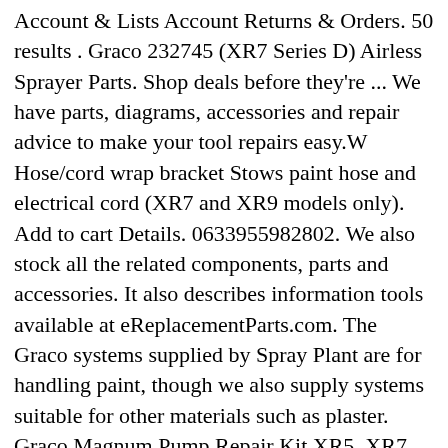Account & Lists Account Returns & Orders. 50 results . Graco 232745 (XR7 Series D) Airless Sprayer Parts. Shop deals before they're ... We have parts, diagrams, accessories and repair advice to make your tool repairs easy.W Hose/cord wrap bracket Stows paint hose and electrical cord (XR7 and XR9 models only). Add to cart Details. 0633955982802. We also stock all the related components, parts and accessories. It also describes information tools available at eReplacementParts.com. The Graco systems supplied by Spray Plant are for handling paint, though we also supply systems suitable for other materials such as plaster. Graco Magnum Pump Repair Kit XR5, XR7, and XR9X5. Bookmark File PDF Graco Magnum Xr7 Manual , thirteen hours benny griessel 2 deon meyer , 2002 honda civic fuse box diagram , hp 10bii manual tutorial , yamaha raptor 700